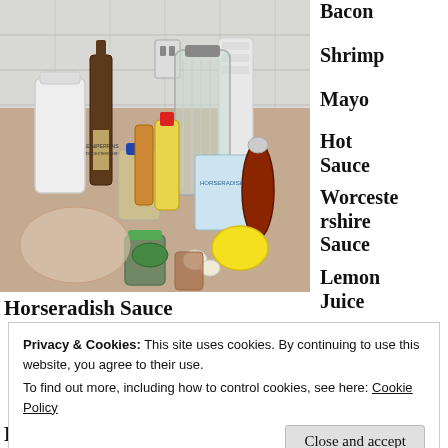[Figure (photo): Kitchen counter with various cooking ingredients including bottles of Worcestershire sauce (Lea & Perrins), mustard, hot sauce, mayo jar, a large glass jar, lemon, garlic, pepper grinder, and jars of herbs/spices on a granite countertop with white subway tile backsplash.]
Bacon
Shrimp
Mayo
Hot Sauce
Worcestershire Sauce
Lemon Juice
Spicy Brown Mustard
Horseradish Sauce
Privacy & Cookies: This site uses cookies. By continuing to use this website, you agree to their use.
To find out more, including how to control cookies, see here: Cookie Policy
Close and accept
Black Pepper